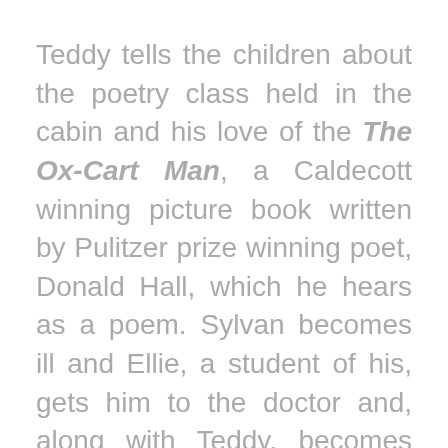Teddy tells the children about the poetry class held in the cabin and his love of the The Ox-Cart Man, a Caldecott winning picture book written by Pulitzer prize winning poet, Donald Hall, which he hears as a poem. Sylvan becomes ill and Ellie, a student of his, gets him to the doctor and, along with Teddy, becomes heir to his estate when he dies. Teddy refuses to leave the cabin, which is how he is able to rescue the children and keep them safe, but off the grid, until the storm clears.
Like siblings in a fairy tale, Nicks